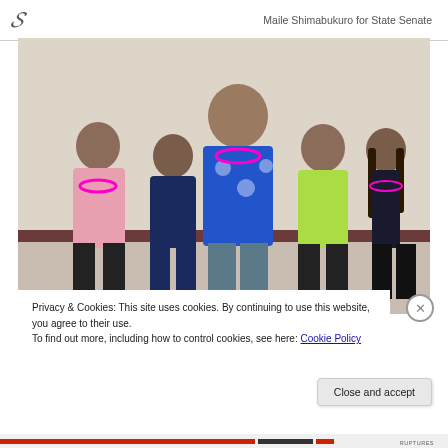Maile Shimabukuro for State Senate
[Figure (photo): Group photo of five people standing together indoors. From left: a man in a pink floral shirt with a lei, a shorter man in a dark navy shirt, a very tall large man in a blue and white floral shirt with a lei, a woman in a lime green shirt with arms crossed, and a woman in a dark top with a lei and long dark hair.]
Privacy & Cookies: This site uses cookies. By continuing to use this website, you agree to their use.
To find out more, including how to control cookies, see here: Cookie Policy
Close and accept